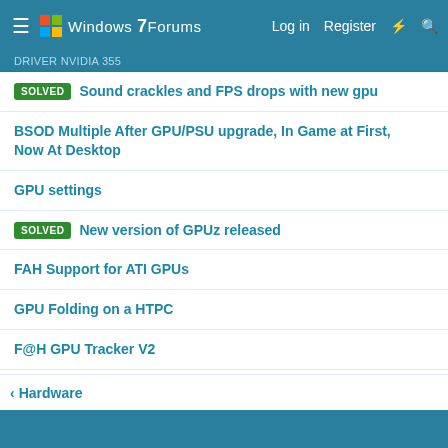Windows 7 Forums — Log in  Register
SOLVED  Sound crackles and FPS drops with new gpu
BSOD Multiple After GPU/PSU upgrade, In Game at First, Now At Desktop
GPU settings
SOLVED  New version of GPUz released
FAH Support for ATI GPUs
GPU Folding on a HTPC
F@H GPU Tracker V2
new GPU
< Hardware